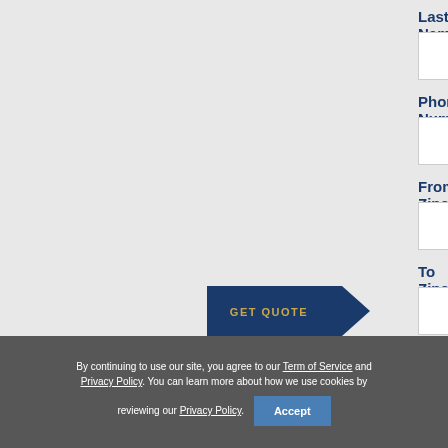Last Name
Phone Number
From Zipcode
To Zipcode
[Figure (other): GET QUOTE button with dark blue arrow/chevron shape and gold text]
By continuing to use our site, you agree to our Term of Service and Privacy Policy. You can learn more about how we use cookies by reviewing our Privacy Policy.